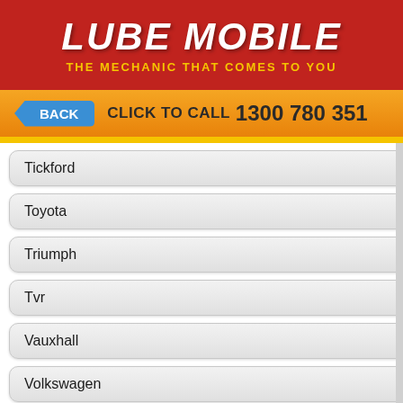[Figure (logo): Lube Mobile logo with red background, white bold italic text 'LUBE MOBILE' and yellow subtitle 'THE MECHANIC THAT COMES TO YOU']
BACK   CLICK TO CALL 1300 780 351
Tickford
Toyota
Triumph
Tvr
Vauxhall
Volkswagen
Volvo
Wolseley